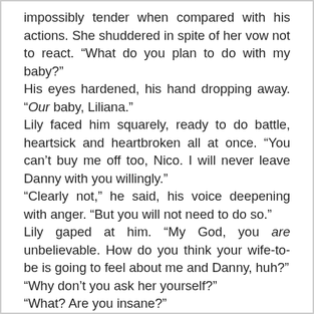impossibly tender when compared with his actions. She shuddered in spite of her vow not to react. “What do you plan to do with my baby?” His eyes hardened, his hand dropping away. “Our baby, Liliana.”
Lily faced him squarely, ready to do battle, heartsick and heartbroken all at once. “You can’t buy me off too, Nico. I will never leave Danny with you willingly.”
“Clearly not,” he said, his voice deepening with anger. “But you will not need to do so.”
Lily gaped at him. “My God, you are unbelievable. How do you think your wife-to-be is going to feel about me and Danny, huh?”
“Why don’t you ask her yourself?”
“What? Are you insane?”